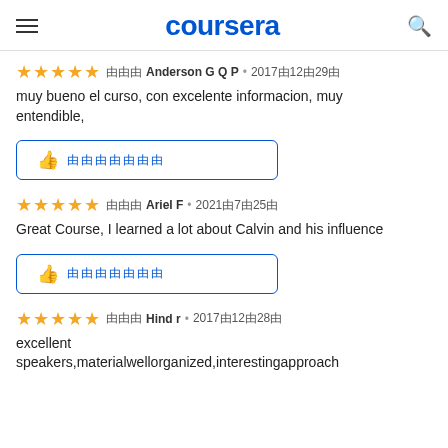coursera
★★★★★ 由由由 Anderson G Q P • 2017由12由29由
muy bueno el curso, con excelente informacion, muy entendible,
[Figure (other): Helpful button with thumbs up icon and garbled text]
★★★★★ 由由由 Ariel F • 2021由7由25由
Great Course, I learned a lot about Calvin and his influence
[Figure (other): Helpful button with thumbs up icon and garbled text]
★★★★★ 由由由 Hind r • 2017由12由28由
excellent speakers,materialwellorganized,interestingapproach